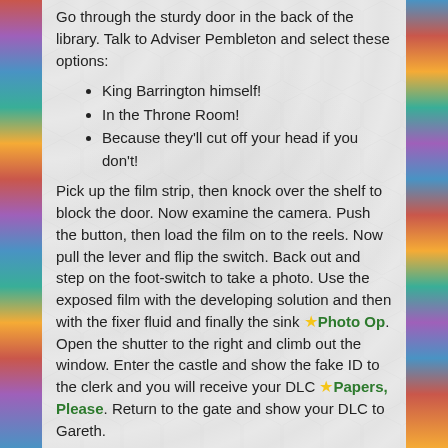Go through the sturdy door in the back of the library. Talk to Adviser Pembleton and select these options:
King Barrington himself!
In the Throne Room!
Because they'll cut off your head if you don't!
Pick up the film strip, then knock over the shelf to block the door. Now examine the camera. Push the button, then load the film on to the reels. Now pull the lever and flip the switch. Back out and step on the foot-switch to take a photo. Use the exposed film with the developing solution and then with the fixer fluid and finally the sink ☀Photo Op. Open the shutter to the right and climb out the window. Enter the castle and show the fake ID to the clerk and you will receive your DLC ☀Papers, Please. Return to the gate and show your DLC to Gareth.
Act II
The Great Outdoors
Head right then travel to the Gap Tours catapult ☀Mind The